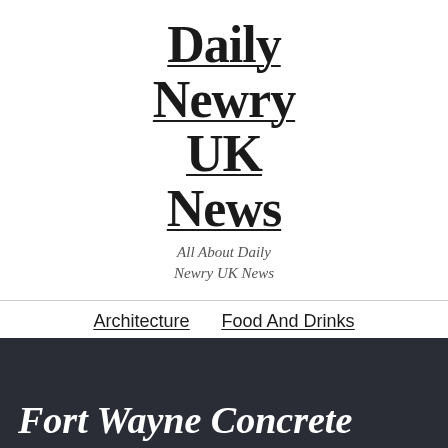Daily Newry UK News
All About Daily Newry UK News
Architecture | Food And Drinks | Home Services | Lifestyle | News | Visit
Fort Wayne Concrete